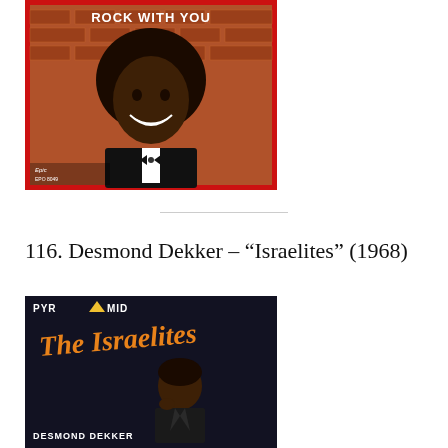[Figure (photo): Album cover for Michael Jackson 'Rock With You' showing a young Michael Jackson in a tuxedo smiling against a brick wall background with a red border]
116. Desmond Dekker – “Israelites” (1968)
[Figure (photo): Album cover for 'The Israelites' by Desmond Dekker on Pyramid Records, showing stylized orange italic text 'The Israelites' and a portrait of Desmond Dekker on a dark background]